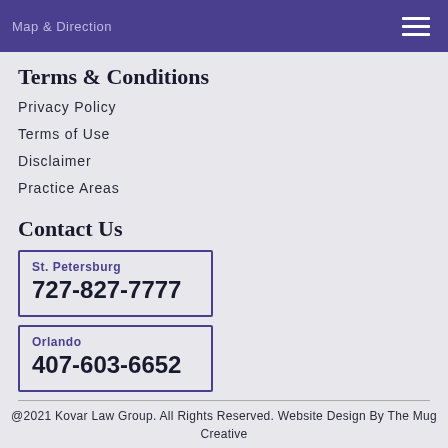Map & Direction
Terms & Conditions
Privacy Policy
Terms of Use
Disclaimer
Practice Areas
Contact Us
St. Petersburg
727-827-7777
Orlando
407-603-6652
@2021 Kovar Law Group. All Rights Reserved. Website Design By The Mug Creative